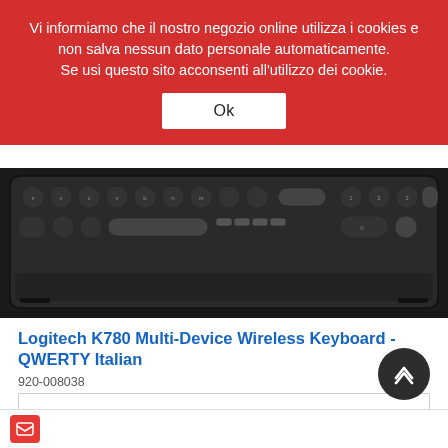Vi informiamo che il nostro negozio online utilizza i cookies e non salva nessun dato personale automaticamente. Se usi questo sito acconsenti all'utilizzo dei cookie.
Ok
[Figure (photo): Close-up top view of a dark Logitech K780 wireless keyboard showing round keys]
Logitech K780 Multi-Device Wireless Keyboard - QWERTY Italian
920-008038